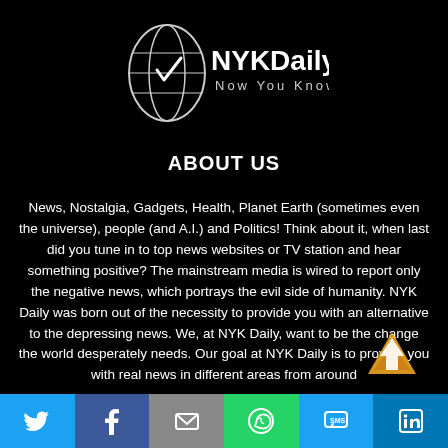[Figure (logo): NYKDaily 'Now You Know' logo with globe graphic on black background]
ABOUT US
News, Nostalgia, Gadgets, Health, Planet Earth (sometimes even the universe), people (and A.I.) and Politics! Think about it, when last did you tune in to top news websites or TV station and hear something positive? The mainstream media is wired to report only the negative news, which portrays the evil side of humanity. NYK Daily was born out of the necessity to provide you with an alternative to the depressing news. We, at NYK Daily, want to be the change the world desperately needs. Our goal at NYK Daily is to provide you with real news in different areas from around
[Figure (infographic): Social sharing bar with Twitter, Facebook, Email, WhatsApp, SMS, LinkedIn icons]